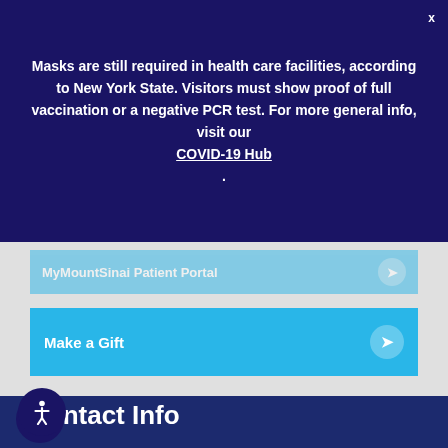Masks are still required in health care facilities, according to New York State. Visitors must show proof of full vaccination or a negative PCR test. For more general info, visit our COVID-19 Hub.
MyMountSinai Patient Portal
Make a Gift
Contact Info
The Mount Sinai Hospital
Address: 1468 Madison Avenue New York, NY 10029
Phone: 212-241-1446